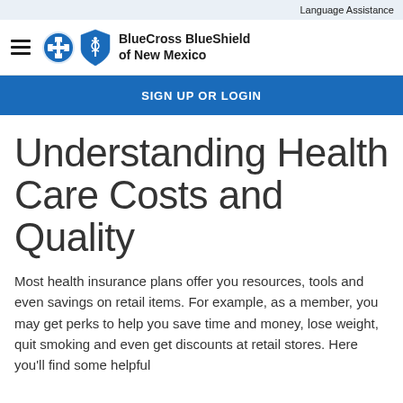Language Assistance
[Figure (logo): BlueCross BlueShield of New Mexico logo with hamburger menu icon]
SIGN UP OR LOGIN
Understanding Health Care Costs and Quality
Most health insurance plans offer you resources, tools and even savings on retail items. For example, as a member, you may get perks to help you save time and money, lose weight, quit smoking and even get discounts at retail stores. Here you'll find some helpful